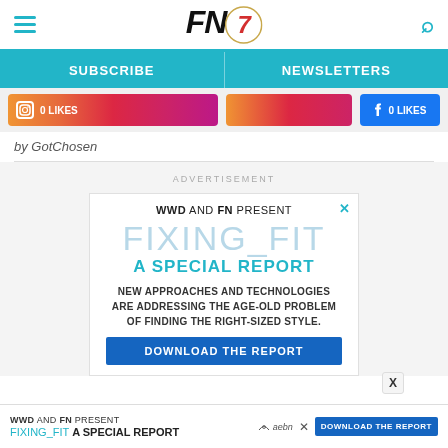FN (Footwear News) website header with hamburger menu, FN logo, and search icon
SUBSCRIBE | NEWSLETTERS
[Figure (screenshot): Social media buttons: Instagram and Facebook like/follow buttons on gradient background]
by GotChosen
ADVERTISEMENT
[Figure (infographic): WWD AND FN PRESENT advertisement for FIXING_FIT A SPECIAL REPORT. Text: NEW APPROACHES AND TECHNOLOGIES ARE ADDRESSING THE AGE-OLD PROBLEM OF FINDING THE RIGHT-SIZED STYLE. Download button present.]
WWD AND FN PRESENT FIXING_FIT A SPECIAL REPORT DOWNLOAD THE REPORT